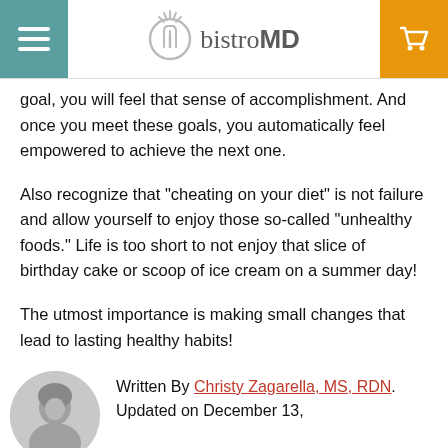bistroMD
goal, you will feel that sense of accomplishment. And once you meet these goals, you automatically feel empowered to achieve the next one.
Also recognize that "cheating on your diet" is not failure and allow yourself to enjoy those so-called "unhealthy foods." Life is too short to not enjoy that slice of birthday cake or scoop of ice cream on a summer day!
The utmost importance is making small changes that lead to lasting healthy habits!
Written By Christy Zagarella, MS, RDN. Updated on December 13,